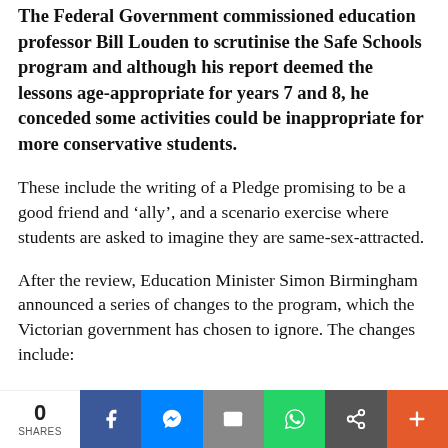The Federal Government commissioned education professor Bill Louden to scrutinise the Safe Schools program and although his report deemed the lessons age-appropriate for years 7 and 8, he conceded some activities could be inappropriate for more conservative students.
These include the writing of a Pledge promising to be a good friend and ‘ally’, and a scenario exercise where students are asked to imagine they are same-sex-attracted.
After the review, Education Minister Simon Birmingham announced a series of changes to the program, which the Victorian government has chosen to ignore. The changes include: